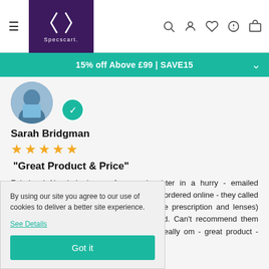Specscart navigation bar with hamburger menu and icons
15% off Above £99 | SAVE15
[Figure (photo): Circular avatar photo of reviewer Sarah Bridgman outdoors]
Sarah Bridgman
★★★★★ (5 stars)
"Great Product & Price"
Fabulous! Needed glasses for my daughter in a hurry - emailed prescription from her optician to Specscart - ordered online - they called to resolve small query and glasses (simple prescription and lenses) arrived the next morning. Beautifully boxed. Can't recommend them enough - great customer service - some really om - great product - great nyself when I get my
By using our site you agree to our use of cookies to deliver a better site experience.
See Details
Got it